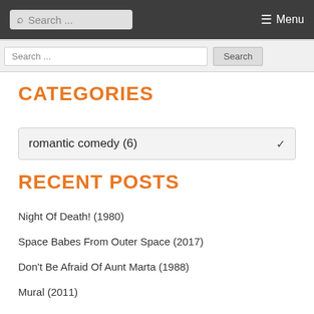Search ... Menu
Search ... Search
CATEGORIES
romantic comedy  (6)
RECENT POSTS
Night Of Death! (1980)
Space Babes From Outer Space (2017)
Don't Be Afraid Of Aunt Marta (1988)
Mural (2011)